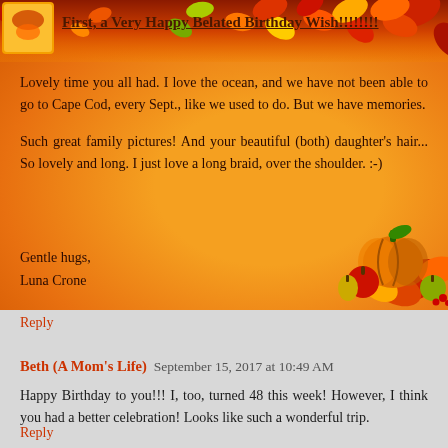[Figure (illustration): Autumn leaves decorative header strip with orange, red, yellow leaves and a small image at left]
First, a Very Happy Belated Birthday Wish!!!!!!!!
Lovely time you all had. I love the ocean, and we have not been able to go to Cape Cod, every Sept., like we used to do. But we have memories.
Such great family pictures! And your beautiful (both) daughter's hair... So lovely and long. I just love a long braid, over the shoulder. :-)
[Figure (illustration): Autumn harvest decoration with pumpkin, apples, pears and fall leaves in bottom-right corner]
Gentle hugs,
Luna Crone
Reply
Beth (A Mom's Life)  September 15, 2017 at 10:49 AM
Happy Birthday to you!!! I, too, turned 48 this week! However, I think you had a better celebration! Looks like such a wonderful trip.
Reply